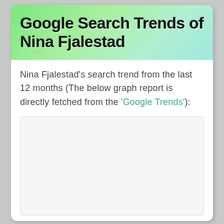Google Search Trends of Nina Fjalestad
Nina Fjalestad's search trend from the last 12 months (The below graph report is directly fetched from the 'Google Trends'):
[Figure (other): Embedded Google Trends graph iframe placeholder — white/light gray empty chart area]